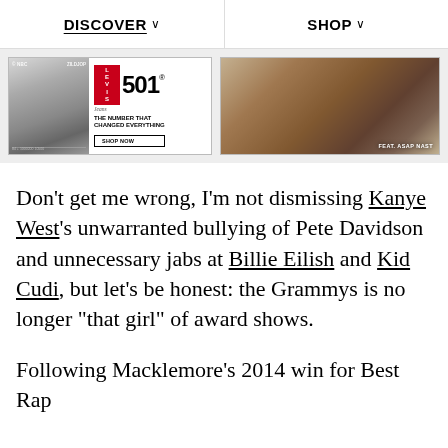DISCOVER ∨   SHOP ∨
[Figure (photo): Two advertisement banners: left is a Levi's 501 jeans ad showing a black-and-white photo of a person and the text 'THE NUMBER THAT CHANGED EVERYTHING' with a SHOP NOW button; right is a fashion photo of a man in jeans lounging, labeled 'FEAT. ASAP NAST']
Don't get me wrong, I'm not dismissing Kanye West's unwarranted bullying of Pete Davidson and unnecessary jabs at Billie Eilish and Kid Cudi, but let's be honest: the Grammys is no longer "that girl" of award shows.
Following Macklemore's 2014 win for Best Rap